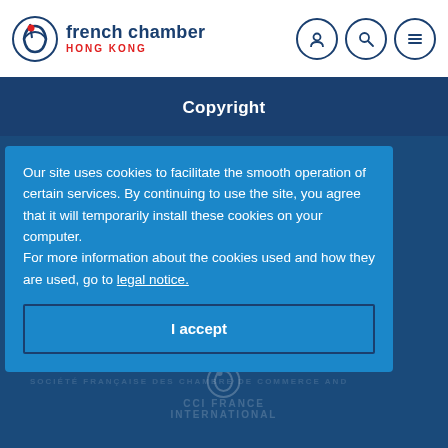french chamber HONG KONG
Copyright
Our site uses cookies to facilitate the smooth operation of certain services. By continuing to use the site, you agree that it will temporarily install these cookies on your computer.
For more information about the cookies used and how they are used, go to legal notice.
I accept